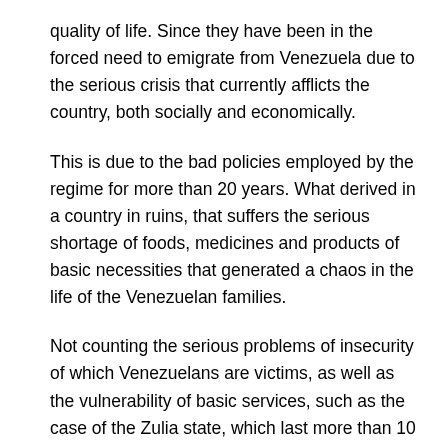quality of life. Since they have been in the forced need to emigrate from Venezuela due to the serious crisis that currently afflicts the country, both socially and economically.
This is due to the bad policies employed by the regime for more than 20 years. What derived in a country in ruins, that suffers the serious shortage of foods, medicines and products of basic necessities that generated a chaos in the life of the Venezuelan families.
Not counting the serious problems of insecurity of which Venezuelans are victims, as well as the vulnerability of basic services, such as the case of the Zulia state, which last more than 10 hours without power rationing.